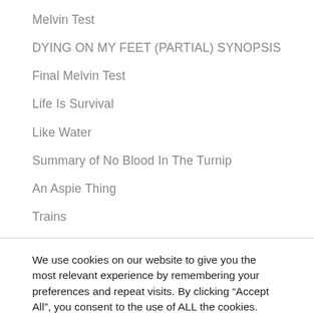Melvin Test
DYING ON MY FEET (PARTIAL) SYNOPSIS
Final Melvin Test
Life Is Survival
Like Water
Summary of No Blood In The Turnip
An Aspie Thing
Trains
We use cookies on our website to give you the most relevant experience by remembering your preferences and repeat visits. By clicking “Accept All”, you consent to the use of ALL the cookies. However, you may visit "Cookie Settings" to provide a controlled consent.
Cookie Settings | Accept All